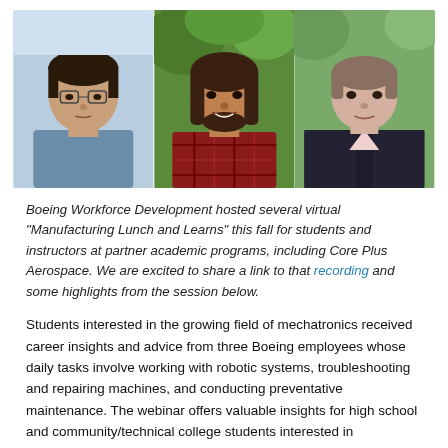[Figure (photo): Three portrait photos side by side: left - young man with glasses and blue shirt; center - man with long hair and red plaid shirt smiling outdoors; right - woman with short hair wearing a dark blazer.]
Boeing Workforce Development hosted several virtual "Manufacturing Lunch and Learns" this fall for students and instructors at partner academic programs, including Core Plus Aerospace. We are excited to share a link to that recording and some highlights from the session below.
Students interested in the growing field of mechatronics received career insights and advice from three Boeing employees whose daily tasks involve working with robotic systems, troubleshooting and repairing machines, and conducting preventative maintenance. The webinar offers valuable insights for high school and community/technical college students interested in mechatronics, including career development advice from early and mid-career